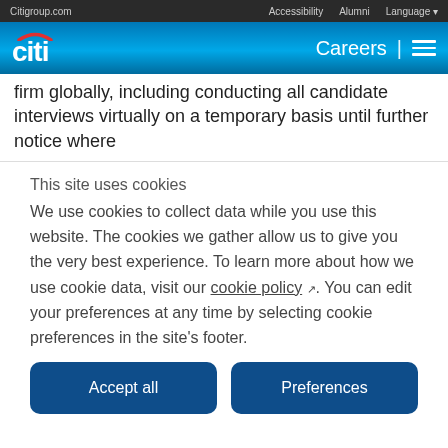Citigroup.com  Accessibility  Alumni  Language
[Figure (logo): Citi logo with red arc above white 'citi' wordmark on blue gradient header bar with 'Careers |' and hamburger menu on the right]
firm globally, including conducting all candidate interviews virtually on a temporary basis until further notice where
This site uses cookies
We use cookies to collect data while you use this website. The cookies we gather allow us to give you the very best experience. To learn more about how we use cookie data, visit our cookie policy. You can edit your preferences at any time by selecting cookie preferences in the site's footer.
Accept all
Preferences